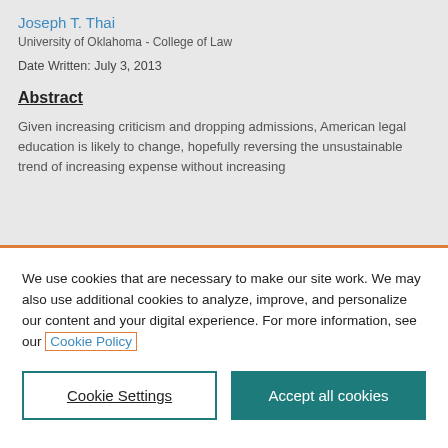Joseph T. Thai
University of Oklahoma - College of Law
Date Written: July 3, 2013
Abstract
Given increasing criticism and dropping admissions, American legal education is likely to change, hopefully reversing the unsustainable trend of increasing expense without increasing
We use cookies that are necessary to make our site work. We may also use additional cookies to analyze, improve, and personalize our content and your digital experience. For more information, see our Cookie Policy
Cookie Settings
Accept all cookies